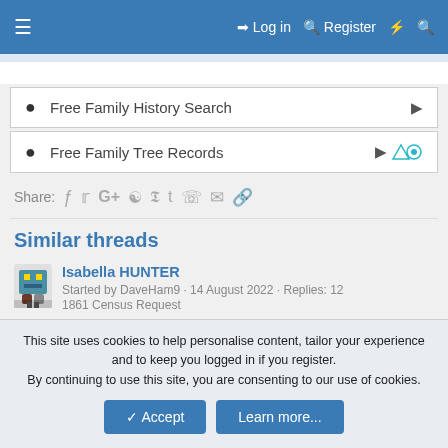≡  Log in  Register  ⚡  🔍
Free Family History Search
Free Family Tree Records
Share: f  t  G+  reddit  Pinterest  Tumblr  WhatsApp  mail  link
Similar threads
Isabella HUNTER
Started by DaveHam9 · 14 August 2022 · Replies: 12
1861 Census Request
Isobel/Isabella HOLMS/HOLMES
Started by DaveHam9 · 22 April 2022 · Replies: 5
This site uses cookies to help personalise content, tailor your experience and to keep you logged in if you register.
By continuing to use this site, you are consenting to our use of cookies.
Accept   Learn more...